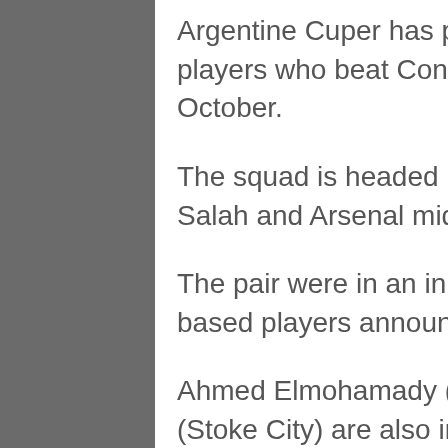Argentine Cuper has picked the same group of players who beat Congo in their opening qualifier in October.
The squad is headed by Roma winger Mohamed Salah and Arsenal midfielder Mohamed Elneny.
The pair were in an initial 10-man list of foreign-based players announced by Cuper last month.
Ahmed Elmohamady (Hull City) and Ramadan Sobhi (Stoke City) are also in the squad.
Veteran goalkeeper Essam El-Hadary of Wadi Degla is among 13 locally-based players called up on Tuesday.
The Egyptians kicked off their Group E campaign with a 2-1 win over Congo in Brazzaville, while the Black Stars were held